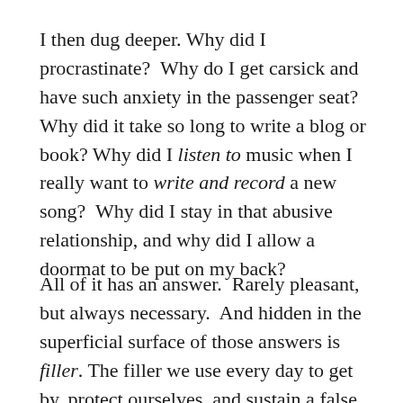I then dug deeper. Why did I procrastinate?  Why do I get carsick and have such anxiety in the passenger seat?  Why did it take so long to write a blog or book? Why did I listen to music when I really want to write and record a new song?  Why did I stay in that abusive relationship, and why did I allow a doormat to be put on my back?
All of it has an answer.  Rarely pleasant, but always necessary.  And hidden in the superficial surface of those answers is filler. The filler we use every day to get by, protect ourselves, and sustain a false sense of sanity.  Our subconscious and ego are far too protective and